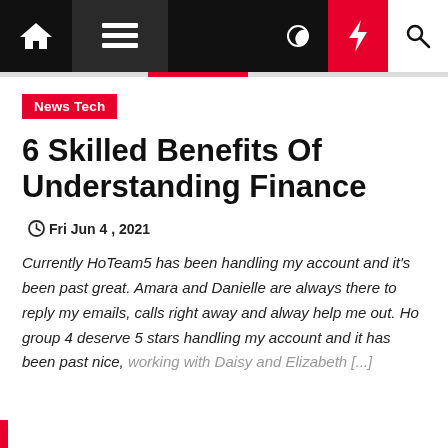Navigation bar with home, menu, moon, bolt, search icons
News Tech
6 Skilled Benefits Of Understanding Finance
Fri Jun 4 , 2021
Currently HoTeam5 has been handling my account and it's been past great. Amara and Danielle are always there to reply my emails, calls right away and alway help me out. Ho group 4 deserve 5 stars handling my account and it has been past nice, working with Daisy and Elizabeth [...]